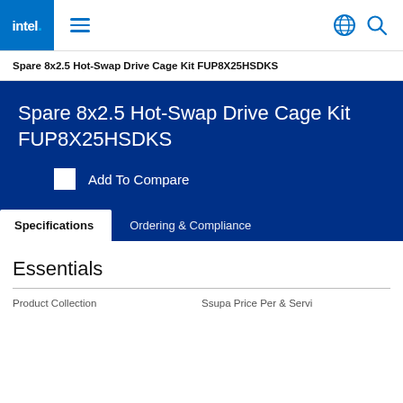Intel navigation bar with logo, hamburger menu, globe and search icons
Spare 8x2.5 Hot-Swap Drive Cage Kit FUP8X25HSDKS
Spare 8x2.5 Hot-Swap Drive Cage Kit FUP8X25HSDKS
Add To Compare
Specifications   Ordering & Compliance
Essentials
Product Collection   Ssupa Price Per & Service